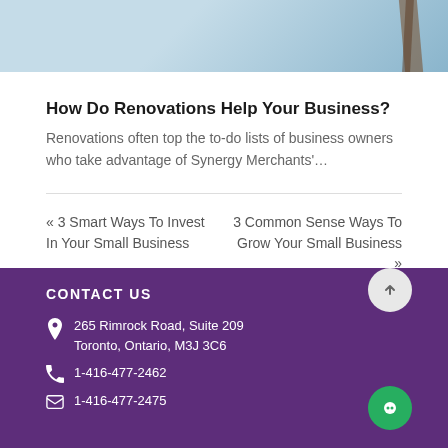[Figure (photo): Partial photo of a person in denim clothing painting or renovating, blue background, wooden ladder visible on right side]
How Do Renovations Help Your Business?
Renovations often top the to-do lists of business owners who take advantage of Synergy Merchants'...
« 3 Smart Ways To Invest In Your Small Business
3 Common Sense Ways To Grow Your Small Business »
CONTACT US
265 Rimrock Road, Suite 209
Toronto, Ontario, M3J 3C6
1-416-477-2462
1-416-477-2475